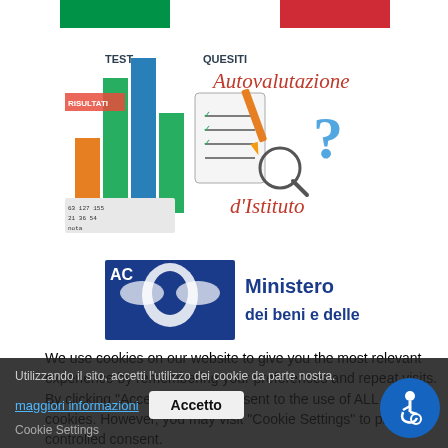[Figure (illustration): Italian flag banner strip at top]
[Figure (illustration): Autovalutazione d'Istituto banner with bar chart, test/quesiti clipboard, magnifying glass, question mark and red cursive text]
[Figure (illustration): Ministero dei beni e delle logo with blue banner and eagle emblem]
We use cookies on our website to give you the most relevant experience by remembering your preferences and repeat visits. By clicking "Accept All", you consent to the use of ALL the cookies. However, you may visit "Cookie Settings" to provide a controlled consent.
Utilizzando il sito, accetti l'utilizzo dei cookie da parte nostra.
maggiori informazioni
Accetto
Cookie Settings